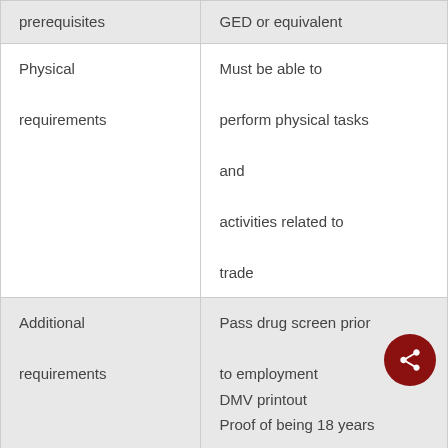| prerequisites | GED or equivalent |
| Physical requirements | Must be able to perform physical tasks and activities related to trade |
| Additional requirements | Pass drug screen prior to employment
DMV printout
Proof of being 18 years of age or older at the time of the pre-qualifying test |